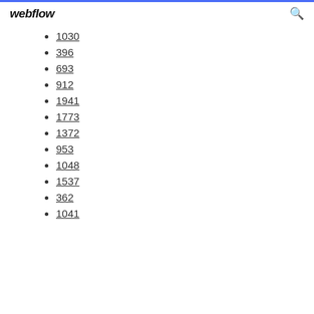webflow
1030
396
693
912
1941
1773
1372
953
1048
1537
362
1041